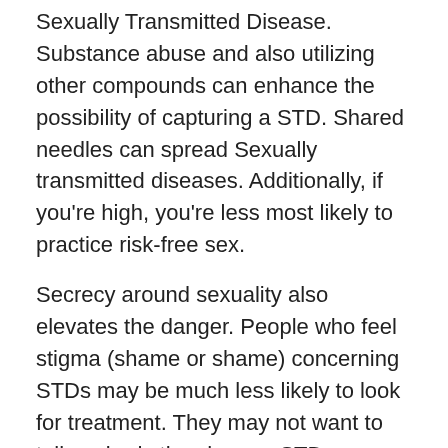Sexually Transmitted Disease. Substance abuse and also utilizing other compounds can enhance the possibility of capturing a STD. Shared needles can spread Sexually transmitted diseases. Additionally, if you're high, you're less most likely to practice risk-free sex.
Secrecy around sexuality also elevates the danger. People who feel stigma (shame or shame) concerning STDs may be much less likely to look for treatment. They may not want to tell anybody they have a STD. However without therapy, people keeping spreading out the STD to others. Being open regarding your symptoms as well as sexual history is necessary for the health and also well-being of you as well as your partners